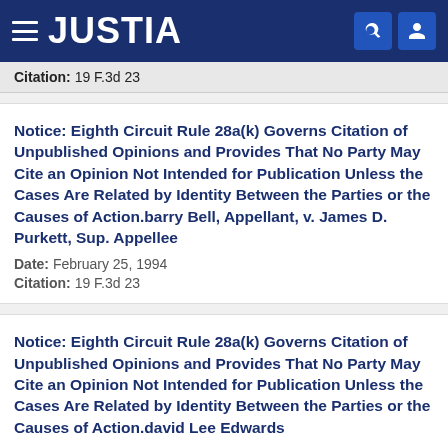JUSTIA
Citation: 19 F.3d 23
Notice: Eighth Circuit Rule 28a(k) Governs Citation of Unpublished Opinions and Provides That No Party May Cite an Opinion Not Intended for Publication Unless the Cases Are Related by Identity Between the Parties or the Causes of Action.barry Bell, Appellant, v. James D. Purkett, Sup. Appellee
Date: February 25, 1994
Citation: 19 F.3d 23
Notice: Eighth Circuit Rule 28a(k) Governs Citation of Unpublished Opinions and Provides That No Party May Cite an Opinion Not Intended for Publication Unless the Cases Are Related by Identity Between the Parties or the Causes of Action.david Lee Edwards